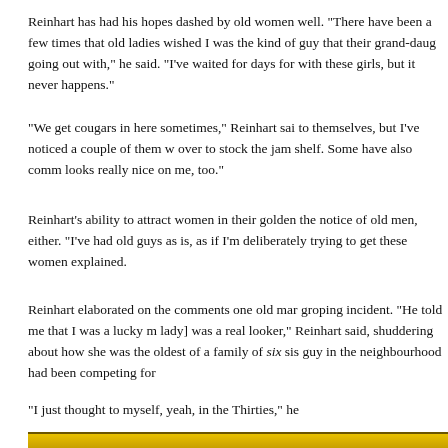Reinhart has had his hopes dashed by old women well. "There have been a few times that old ladies wished I was the kind of guy that their grand-daughters going out with," he said. "I've waited for days for with these girls, but it never happens."
"We get cougars in here sometimes," Reinhart said, to themselves, but I've noticed a couple of them w over to stock the jam shelf. Some have also comm looks really nice on me, too."
Reinhart's ability to attract women in their golden the notice of old men, either. "I've had old guys as is, as if I'm deliberately trying to get these women explained.
Reinhart elaborated on the comments one old man groping incident. "He told me that I was a lucky m lady] was a real looker," Reinhart said, shuddering about how she was the oldest of a family of six sis guy in the neighbourhood had been competing for
"I just thought to myself, yeah, in the Thirties," he